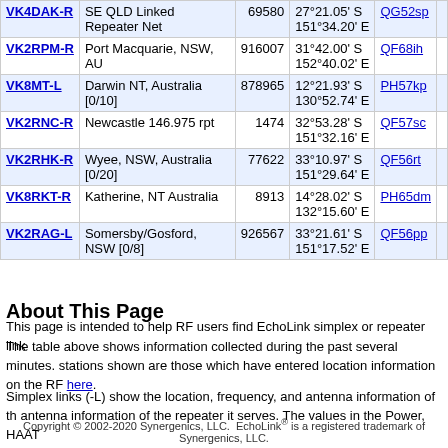| Callsign | Location | Node | Coordinates | Grid | Freq |
| --- | --- | --- | --- | --- | --- |
| VK4DAK-R | SE QLD Linked Repeater Net | 69580 | 27°21.05' S 151°34.20' E | QG52sp |  |
| VK2RPM-R | Port Macquarie, NSW, AU | 916007 | 31°42.00' S 152°40.02' E | QF68ih |  |
| VK8MT-L | Darwin NT, Australia [0/10] | 878965 | 12°21.93' S 130°52.74' E | PH57kp |  |
| VK2RNC-R | Newcastle 146.975 rpt | 1474 | 32°53.28' S 151°32.16' E | QF57sc |  |
| VK2RHK-R | Wyee, NSW, Australia [0/20] | 77622 | 33°10.97' S 151°29.64' E | QF56rt |  |
| VK8RKT-R | Katherine, NT Australia | 8913 | 14°28.02' S 132°15.60' E | PH65dm |  |
| VK2RAG-L | Somersby/Gosford, NSW [0/8] | 926567 | 33°21.61' S 151°17.52' E | QF56pp |  |
About This Page
This page is intended to help RF users find EchoLink simplex or repeater link
The table above shows information collected during the past several minutes. stations shown are those which have entered location information on the RF here.
Simplex links (-L) show the location, frequency, and antenna information of the antenna information of the repeater it serves. The values in the Power, HAAT
Copyright © 2002-2020 Synergenics, LLC.  EchoLink® is a registered trademark of Synergenics, LLC.